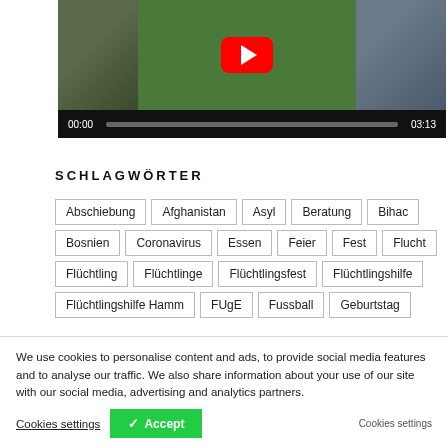[Figure (screenshot): Video player with YouTube play button overlay, showing football/soccer scenes. Controls show 00:00 start time and 03:13 end time with a gray progress bar.]
SCHLAGWÖRTER
Abschiebung
Afghanistan
Asyl
Beratung
Bihac
Bosnien
Coronavirus
Essen
Feier
Fest
Flucht
Flüchtling
Flüchtlinge
Flüchtlingsfest
Flüchtlingshilfe
Flüchtlingshilfe Hamm
FUgE
Fussball
Geburtstag
Cookies settings (partially visible tag)
We use cookies to personalise content and ads, to provide social media features and to analyse our traffic. We also share information about your use of our site with our social media, advertising and analytics partners.